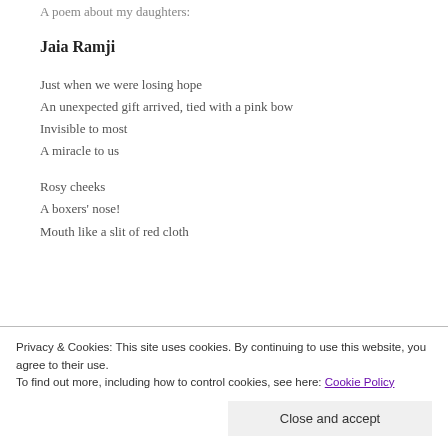A poem about my daughters:
Jaia Ramji
Just when we were losing hope
An unexpected gift arrived, tied with a pink bow
Invisible to most
A miracle to us
Rosy cheeks
A boxers’ nose!
Mouth like a slit of red cloth
Privacy & Cookies: This site uses cookies. By continuing to use this website, you agree to their use.
To find out more, including how to control cookies, see here: Cookie Policy
Close and accept